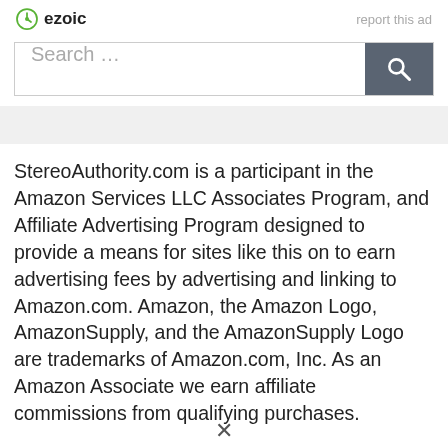ezoic   report this ad
Search …
StereoAuthority.com is a participant in the Amazon Services LLC Associates Program, and Affiliate Advertising Program designed to provide a means for sites like this on to earn advertising fees by advertising and linking to Amazon.com. Amazon, the Amazon Logo, AmazonSupply, and the AmazonSupply Logo are trademarks of Amazon.com, Inc. As an Amazon Associate we earn affiliate commissions from qualifying purchases.